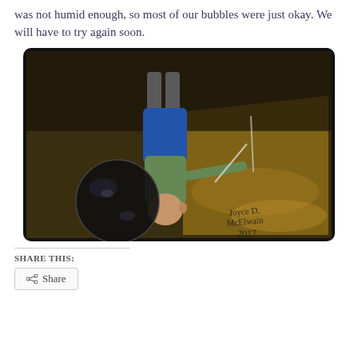was not humid enough, so most of our bubbles were just okay.  We will have to try again soon.
[Figure (photo): An upside-down photograph of a child blowing bubbles outdoors on grass, with a large dark reflective bubble on the ground. Signed 'Joyce D. McElwain 2017' in the lower right corner.]
SHARE THIS:
Share